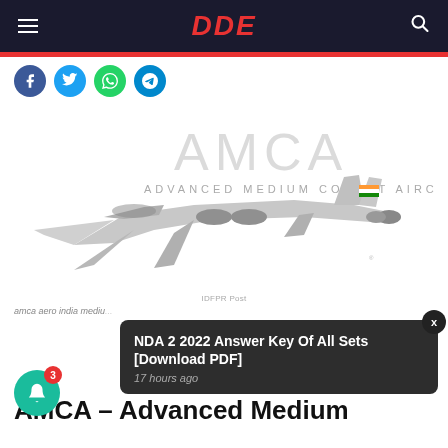DDE
[Figure (illustration): AMCA Advanced Medium Combat Aircraft illustration showing a stealth fighter jet with Indian flag on tail]
amca aero india mediu...
NDA 2 2022 Answer Key Of All Sets [Download PDF] 17 hours ago
AMCA – Advanced Medium